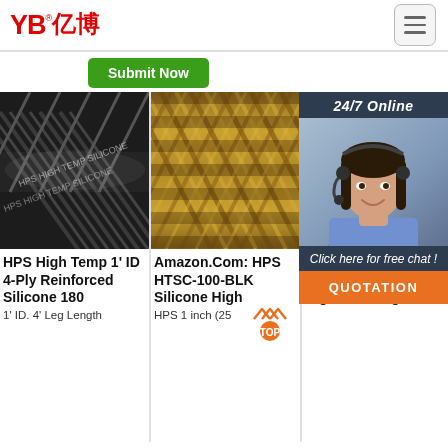YB亿博® — navigation header with hamburger menu
Submit Now
[Figure (photo): Chat widget with 24/7 Online banner, customer service agent photo, 'Click here for free chat!' text and QUOTATION button in orange]
[Figure (photo): HPS High Temp black silicone hose close-up photo]
HPS High Temp 1' ID 4-Ply Reinforced Silicone 180
1' ID. 4' Leg Length
[Figure (photo): Amazon.Com HPS HTSC-100-BLK golden braided silicone hose photo]
Amazon.Com: HPS HTSC-100-BLK Silicone High
HPS 1 inch (25
[Figure (photo): HPS 1' ID 4' Length Silicone Hose 4-Pl blue hose photo]
HPS 1' ID 4' Length Silicone Hose 4-Pl High San Diego
[Figure (other): TOP watermark/badge with orange dot]